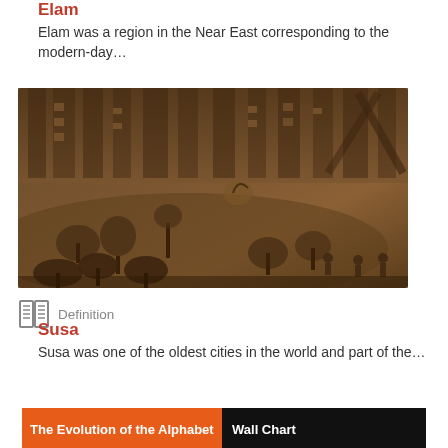Elam
Elam was a region in the Near East corresponding to the modern-day…
[Figure (photo): Ancient stone relief carving showing Elamite landscape with trees, figures, and architectural elements in warm brown tones]
Definition
Susa
Susa was one of the oldest cities in the world and part of the…
[Figure (infographic): The Evolution of the Alphabet Wall Chart banner with ancient alphabet symbols in multiple colors on black background]